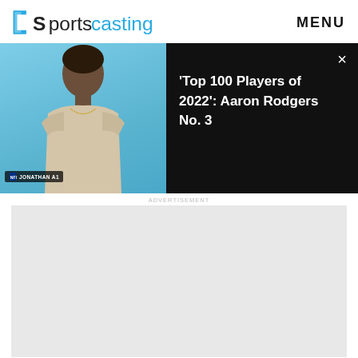Sportscasting | MENU
[Figure (screenshot): Video thumbnail showing NFL player Jonathan Taylor with light blue background]
'Top 100 Players of 2022': Aaron Rodgers No. 3
[Figure (other): Gray advertisement/content placeholder box]